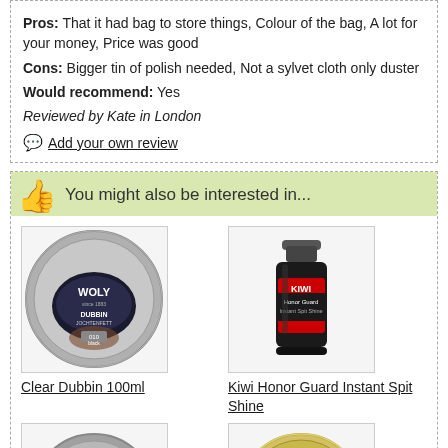Pros: That it had bag to store things, Colour of the bag, A lot for your money, Price was good
Cons: Bigger tin of polish needed, Not a sylvet cloth only duster
Would recommend: Yes
Reviewed by Kate in London
Add your own review
You might also be interested in...
[Figure (photo): Woly Clear Dubbin 100ml tin product image]
Clear Dubbin 100ml
[Figure (photo): Kiwi Honor Guard Instant Spit Shine bottle product image]
Kiwi Honor Guard Instant Spit Shine
[Figure (photo): Woly Polish tin product image]
[Figure (photo): Meltonian or similar yellow tin product image]